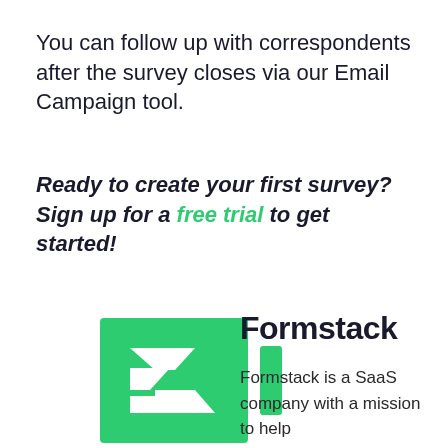You can follow up with correspondents after the survey closes via our Email Campaign tool.
Ready to create your first survey? Sign up for a free trial to get started!
[Figure (logo): Formstack logo: green square with white angular F shape and a green vertical bar to the right]
Formstack
Formstack is a SaaS company with a mission to help